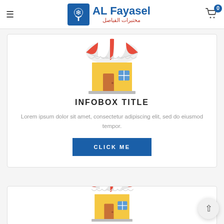AL Fayasel — مختبرات الفياصل
[Figure (illustration): Store/shop icon with red and white striped awning, yellow building, brown door, blue window — first infobox]
INFOBOX TITLE
Lorem ipsum dolor sit amet, consectetur adipiscing elit, sed do eiusmod tempor.
CLICK ME
[Figure (illustration): Store/shop icon with red and white striped awning, yellow building, brown door, blue window — second infobox (partially visible)]